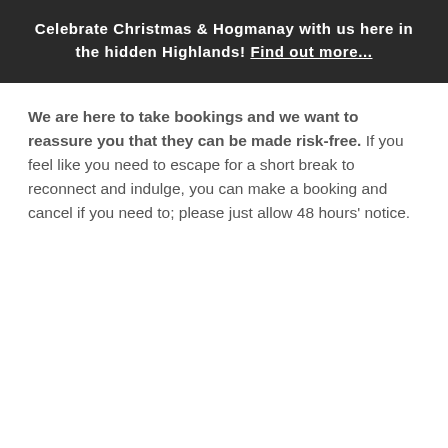Celebrate Christmas & Hogmanay with us here in the hidden Highlands! Find out more...
We are here to take bookings and we want to reassure you that they can be made risk-free. If you feel like you need to escape for a short break to reconnect and indulge, you can make a booking and cancel if you need to; please just allow 48 hours' notice.